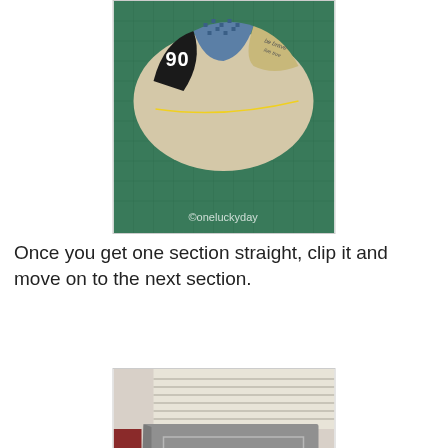[Figure (photo): Top-down view of a craft/quilting project on a green cutting mat showing fabric pieces arranged in a circular pattern with pins, watermark '@oneluckyday' visible in bottom right corner.]
Once you get one section straight, clip it and move on to the next section.
[Figure (photo): Close-up photo of a decorative fabric-covered box or container being assembled, held together with binder clips. Fabric shows numbers '345' visible on black and white pattern, with blue patterned fabric to the right. A wire frame is visible on top of the box.]